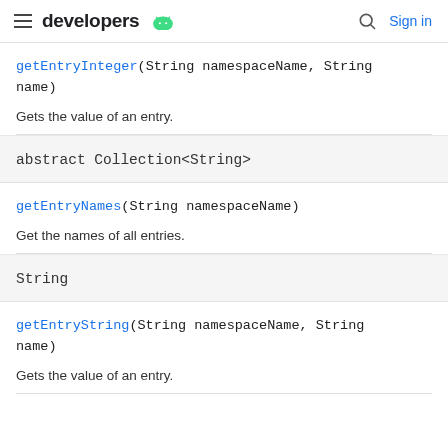developers
getEntryInteger(String namespaceName, String name)
Gets the value of an entry.
abstract Collection<String>
getEntryNames(String namespaceName)
Get the names of all entries.
String
getEntryString(String namespaceName, String name)
Gets the value of an entry.